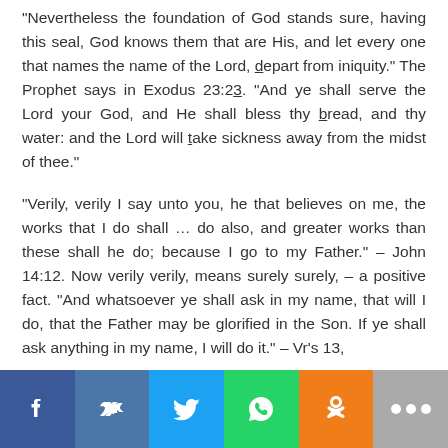“Nevertheless the foundation of God stands sure, having this seal, God knows them that are His, and let every one that names the name of the Lord, depart from iniquity.” The Prophet says in Exodus 23:23. “And ye shall serve the Lord your God, and He shall bless thy bread, and thy water: and the Lord will take sickness away from the midst of thee.”
“Verily, verily I say unto you, he that believes on me, the works that I do shall … do also, and greater works than these shall he do; because I go to my Father.” – John 14:12. Now verily verily, means surely surely, – a positive fact. “And whatsoever ye shall ask in my name, that will I do, that the Father may be glorified in the Son. If ye shall ask anything in my name, I will do it.” – Vr’s 13,
[Figure (other): Social media sharing bar with icons: Facebook (blue), VK (blue), Twitter (light blue), WhatsApp (green), Odnoklassniki (orange), More/ellipsis (gray)]